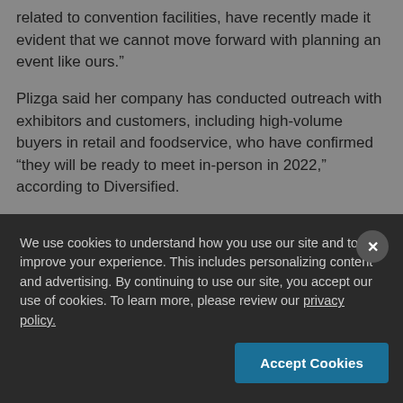related to convention facilities, have recently made it evident that we cannot move forward with planning an event like ours.”
Plizga said her company has conducted outreach with exhibitors and customers, including high-volume buyers in retail and foodservice, who have confirmed “they will be ready to meet in-person in 2022,” according to Diversified.
“Buyers have expressed the importance and unique value of meeting face-to-face in maintaining current relationships and finding new products and suppliers at the event,” the company said.
We use cookies to understand how you use our site and to improve your experience. This includes personalizing content and advertising. By continuing to use our site, you accept our use of cookies. To learn more, please review our privacy policy.